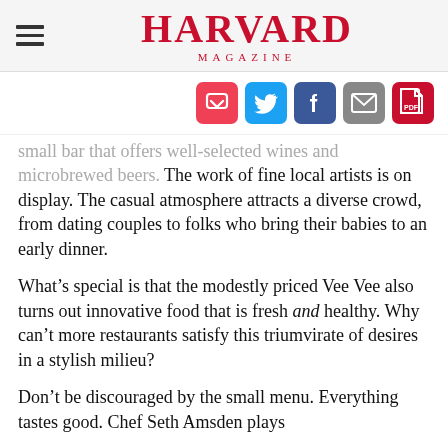HARVARD MAGAZINE
[Figure (infographic): Social sharing icons: Pocket (red), Twitter (blue), Facebook (dark blue), Email (grey), PDF (red)]
small bar that offers well-selected wines and microbrewed beers. The work of fine local artists is on display. The casual atmosphere attracts a diverse crowd, from dating couples to folks who bring their babies to an early dinner.
What’s special is that the modestly priced Vee Vee also turns out innovative food that is fresh and healthy. Why can’t more restaurants satisfy this triumvirate of desires in a stylish milieu?
Don’t be discouraged by the small menu. Everything tastes good. Chef Seth Amsden plays